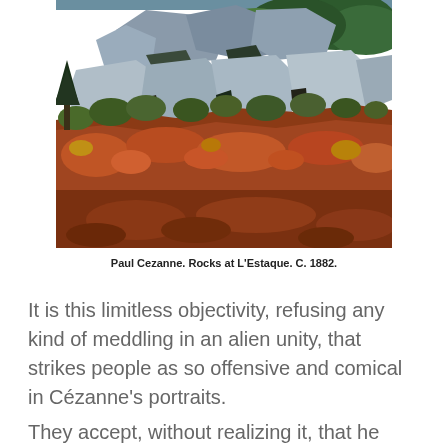[Figure (photo): Painting of rocky landscape with large grey boulders, orange-red earth, green foliage and trees. Paul Cezanne's Rocks at L'Estaque, c. 1882.]
Paul Cezanne. Rocks at L'Estaque. C. 1882.
It is this limitless objectivity, refusing any kind of meddling in an alien unity, that strikes people as so offensive and comical in Cézanne's portraits.
They accept, without realizing it, that he